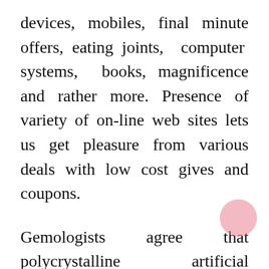devices, mobiles, final minute offers, eating joints, computer systems, books, magnificence and rather more. Presence of variety of on-line web sites lets us get pleasure from various deals with low cost gives and coupons.
Gemologists agree that polycrystalline artificial diamonds are glittering and brilliant as a result of they arrive closer than some other gem materials to matching, often besting the traits of a mined diamond. If there can possibly be criticism about modern synthetic diamonds, it is that they are too perfect. Typically, these remarks are solely